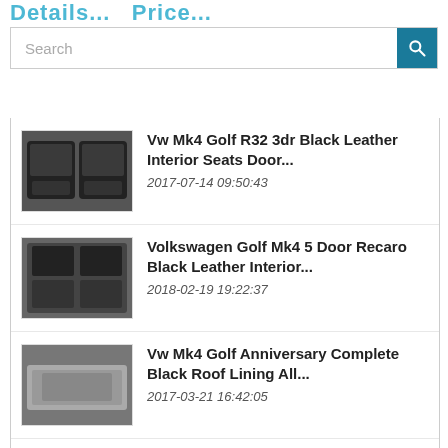Details...   Price...
Search
POPULAR | RECENT
Vw Mk4 Golf R32 3dr Black Leather Interior Seats Door... 2017-07-14 09:50:43
Volkswagen Golf Mk4 5 Door Recaro Black Leather Interior... 2018-02-19 19:22:37
Vw Mk4 Golf Anniversary Complete Black Roof Lining All... 2017-03-21 16:42:05
Vw Mk4 Gli Brushed Aluminum Trim Kit Jetta Gli Golf Glx...